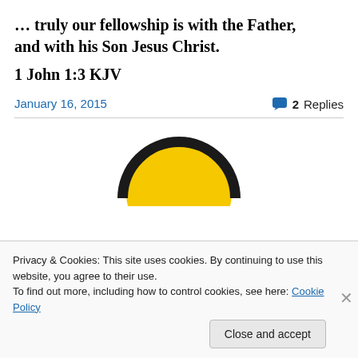… truly our fellowship is with the Father, and with his Son Jesus Christ.
1 John 1:3 KJV
January 16, 2015
2 Replies
[Figure (illustration): Partial view of a smiley face with yellow and black colors, partially visible behind a cookie consent banner]
Privacy & Cookies: This site uses cookies. By continuing to use this website, you agree to their use.
To find out more, including how to control cookies, see here: Cookie Policy
Close and accept